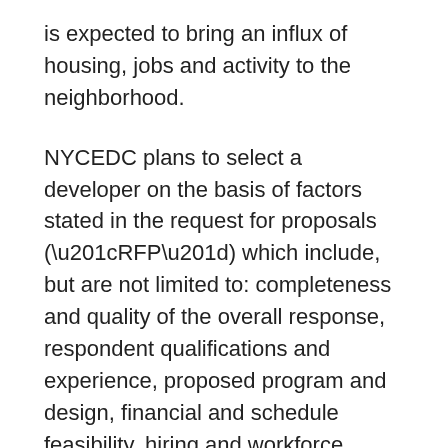is expected to bring an influx of housing, jobs and activity to the neighborhood.
NYCEDC plans to select a developer on the basis of factors stated in the request for proposals (“RFP”) which include, but are not limited to: completeness and quality of the overall response, respondent qualifications and experience, proposed program and design, financial and schedule feasibility, hiring and workforce programs proposed, and economic impact of the proposed project, each as further described in the RFP.
It is the policy of NYCEDC to comply with all federal, state and City laws and regulations which prohibit unlawful discrimination because of race, creed,